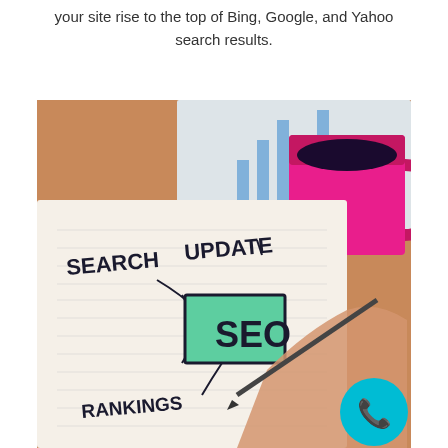your site rise to the top of Bing, Google, and Yahoo search results.
[Figure (photo): A notebook with 'SEARCH UPDATE SEO RANKINGS' written in marker, with a green-highlighted SEO box, a pen in hand, a red coffee mug, and a bar chart paper in the background. A teal phone icon button in the lower right corner.]